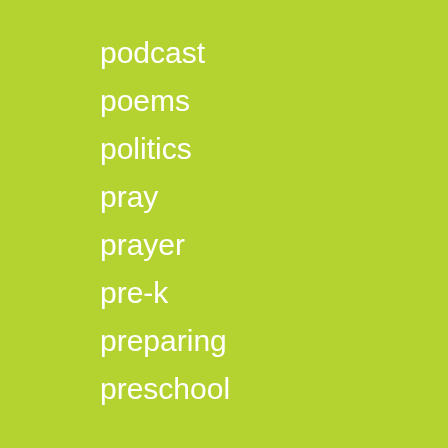podcast
poems
politics
pray
prayer
pre-k
preparing
preschool